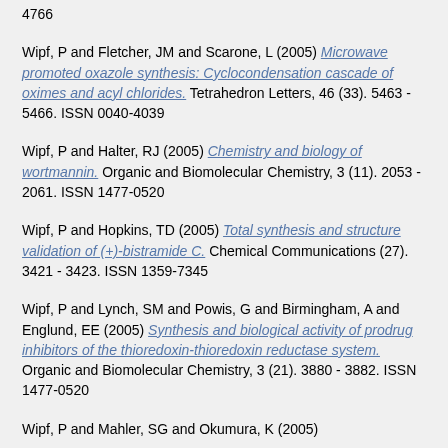4766
Wipf, P and Fletcher, JM and Scarone, L (2005) Microwave promoted oxazole synthesis: Cyclocondensation cascade of oximes and acyl chlorides. Tetrahedron Letters, 46 (33). 5463 - 5466. ISSN 0040-4039
Wipf, P and Halter, RJ (2005) Chemistry and biology of wortmannin. Organic and Biomolecular Chemistry, 3 (11). 2053 - 2061. ISSN 1477-0520
Wipf, P and Hopkins, TD (2005) Total synthesis and structure validation of (+)-bistramide C. Chemical Communications (27). 3421 - 3423. ISSN 1359-7345
Wipf, P and Lynch, SM and Powis, G and Birmingham, A and Englund, EE (2005) Synthesis and biological activity of prodrug inhibitors of the thioredoxin-thioredoxin reductase system. Organic and Biomolecular Chemistry, 3 (21). 3880 - 3882. ISSN 1477-0520
Wipf, P and Mahler, SG and Okumura, K (2005)